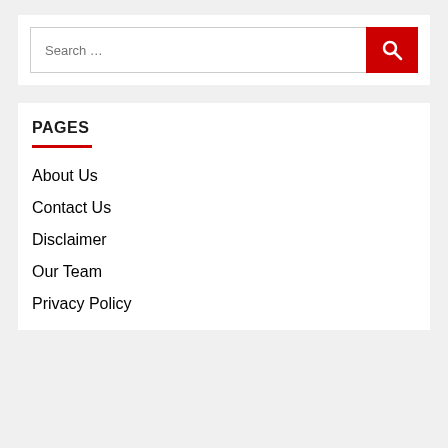[Figure (screenshot): Search bar with text input field showing 'Search ...' placeholder and a red button with a magnifying glass icon]
PAGES
About Us
Contact Us
Disclaimer
Our Team
Privacy Policy